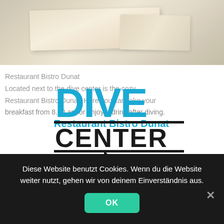[Figure (photo): Photo banner showing a light-toned wooden table surface, softly lit, top of the page]
[Figure (logo): Dive Center KRK logo with blue 'DIVE' text, black 'CENTER' text in bordered band, black 'KRK' text with arrow symbol]
Restaurant Bistro Dunat
Located next to the dive center is the cozy Restaurant Bistro Dunat. Here you can take your breakfast from 8.00 am or enjoy a drink after diving. Anna and her team are constantly working for your well-being and whether Wiener Schnitzel, Cevapcici or Seafood, all dishes taste great.
Diese Website benutzt Cookies. Wenn du die Website weiter nutzt, gehen wir von deinem Einverständnis aus.